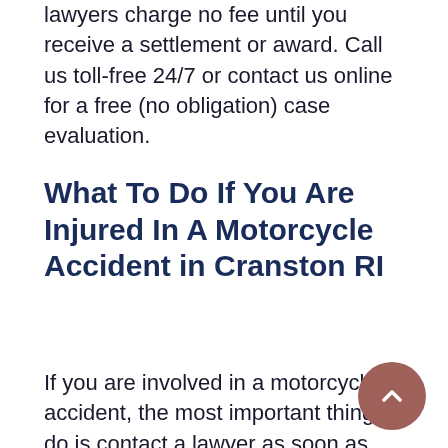lawyers charge no fee until you receive a settlement or award. Call us toll-free 24/7 or contact us online for a free (no obligation) case evaluation.
What To Do If You Are Injured In A Motorcycle Accident in Cranston RI
If you are involved in a motorcycle accident, the most important thing to do is contact a lawyer as soon as possible. Hiring a skilled, experienced motorcycle lawyer can make a big difference when it comes to settling your case with the insurance companies. When handling a motorcycle accident, insurance companies